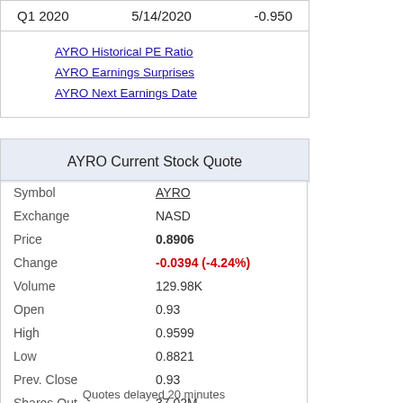| Q1 2020 | 5/14/2020 | -0.950 |
AYRO Historical PE Ratio
AYRO Earnings Surprises
AYRO Next Earnings Date
AYRO Current Stock Quote
| Symbol | AYRO |
| Exchange | NASD |
| Price | 0.8906 |
| Change | -0.0394 (-4.24%) |
| Volume | 129.98K |
| Open | 0.93 |
| High | 0.9599 |
| Low | 0.8821 |
| Prev. Close | 0.93 |
| Shares Out | 37.02M |
| Market Cap | 32.97M |
| Div Yield | 0.00 |
| Ex-Div | NA |
Quotes delayed 20 minutes